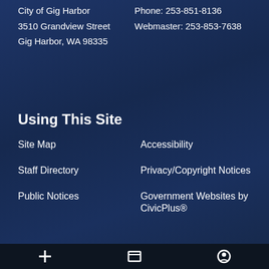City of Gig Harbor
3510 Grandview Street
Gig Harbor, WA 98335
Phone: 253-851-8136
Webmaster: 253-853-7638
Using This Site
Site Map
Accessibility
Staff Directory
Privacy/Copyright Notices
Public Notices
Government Websites by CivicPlus®
[Figure (illustration): Facebook icon button (blue square with white f)]
[Figure (illustration): Location/map pin icon button (blue square with white pin)]
[Figure (illustration): Video/camera icon button (blue square with white video camera)]
Footer bar with icons